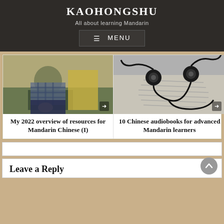KAOHONGSHU
All about learning Mandarin
≡ MENU
[Figure (photo): A child sitting on the floor, wearing a checkered shirt and blue jeans]
My 2022 overview of resources for Mandarin Chinese (I)
[Figure (photo): Black and white photo of earphones/headphones resting on a book or wooden surface]
10 Chinese audiobooks for advanced Mandarin learners
Leave a Reply